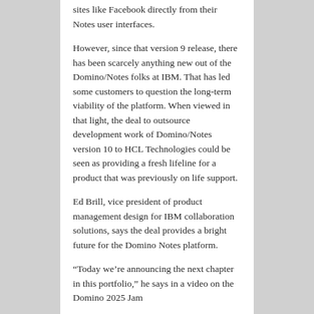sites like Facebook directly from their Notes user interfaces.
However, since that version 9 release, there has been scarcely anything new out of the Domino/Notes folks at IBM. That has led some customers to question the long-term viability of the platform. When viewed in that light, the deal to outsource development work of Domino/Notes version 10 to HCL Technologies could be seen as providing a fresh lifeline for a product that was previously on life support.
Ed Brill, vice president of product management design for IBM collaboration solutions, says the deal provides a bright future for the Domino Notes platform.
“Today we’re announcing the next chapter in this portfolio,” he says in a video on the Domino 2025 Jam